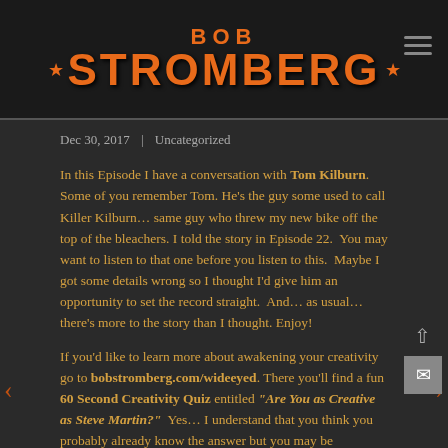[Figure (logo): Bob Stromberg logo with orange stylized text on dark background, with star decorations]
Dec 30, 2017  |  Uncategorized
In this Episode I have a conversation with Tom Kilburn.  Some of you remember Tom. He's the guy some used to call Killer Kilburn… same guy who threw my new bike off the top of the bleachers. I told the story in Episode 22.  You may want to listen to that one before you listen to this.  Maybe I got some details wrong so I thought I'd give him an opportunity to set the record straight.  And… as usual… there's more to the story than I thought. Enjoy!
If you'd like to learn more about awakening your creativity go to bobstromberg.com/wideeyed. There you'll find a fun 60 Second Creativity Quiz entitled "Are You as Creative as Steve Martin?"  Yes… I understand that you think you probably already know the answer but you may be surprised. Also on that page you'll find a FREE 30 Minute Training Video on "Mastering the